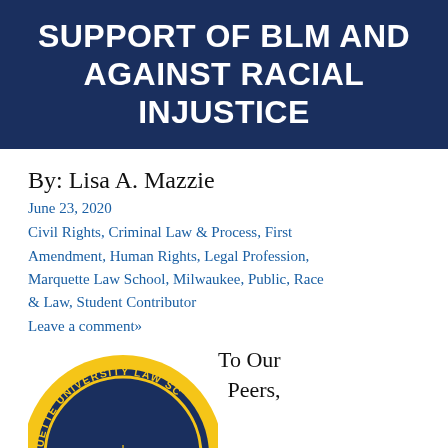SUPPORT OF BLM AND AGAINST RACIAL INJUSTICE
By: Lisa A. Mazzie
June 23, 2020
Civil Rights, Criminal Law & Process, First Amendment, Human Rights, Legal Profession, Marquette Law School, Milwaukee, Public, Race & Law, Student Contributor
Leave a comment»
[Figure (logo): Marquette University Law School circular seal/logo in navy blue and gold]
To Our Peers,